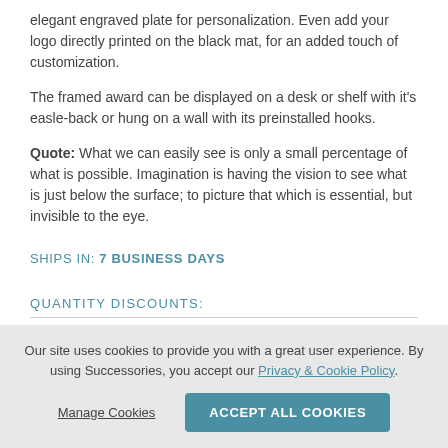elegant engraved plate for personalization. Even add your logo directly printed on the black mat, for an added touch of customization.
The framed award can be displayed on a desk or shelf with it's easle-back or hung on a wall with its preinstalled hooks.
Quote: What we can easily see is only a small percentage of what is possible. Imagination is having the vision to see what is just below the surface; to picture that which is essential, but invisible to the eye.
SHIPS IN: 7 BUSINESS DAYS
QUANTITY DISCOUNTS:
Our site uses cookies to provide you with a great user experience. By using Successories, you accept our Privacy & Cookie Policy.